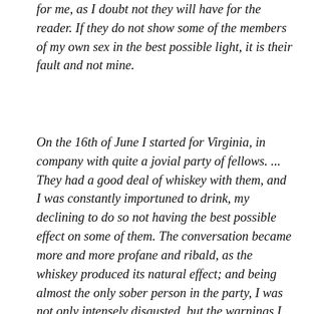for me, as I doubt not they will have for the reader. If they do not show some of the members of my own sex in the best possible light, it is their fault and not mine.
On the 16th of June I started for Virginia, in company with quite a jovial party of fellows. ... They had a good deal of whiskey with them, and I was constantly importuned to drink, my declining to do so not having the best possible effect on some of them. The conversation became more and more profane and ribald, as the whiskey produced its natural effect; and being almost the only sober person in the party, I was not only intensely disgusted, but the warnings I had received from my husband came into my mind, and had a most